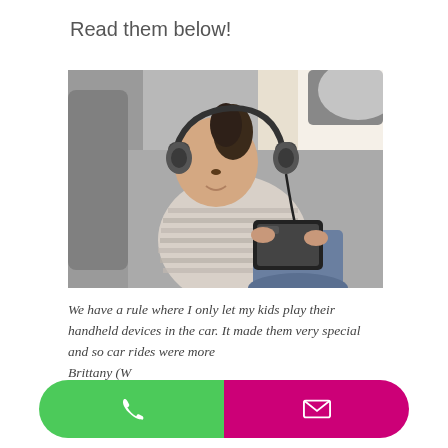Read them below!
[Figure (photo): A young girl with headphones sitting in the back seat of a car, looking down at a tablet device. She is wearing a striped long-sleeve shirt and jeans.]
We have a rule where I only let my kids play their handheld devices in the car. It made them very special and so car rides were more— Brittany (W— It's important to get your children